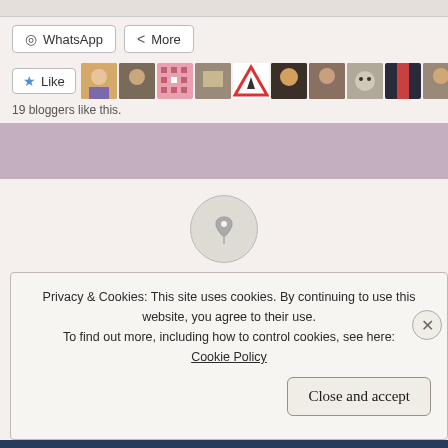[Figure (screenshot): Top decorative bar at the top of the page]
WhatsApp
More
[Figure (screenshot): Like button with star icon and avatar strip of 19 blogger avatars]
19 bloggers like this.
[Figure (screenshot): Mauve/purple banner strip]
[Figure (screenshot): Pin/pushpin icon in a light gray circle]
Posted on May 25, 2022 21 Comments
Partial blog post title text (cut off)
Privacy & Cookies: This site uses cookies. By continuing to use this website, you agree to their use.
To find out more, including how to control cookies, see here:
Cookie Policy
Close and accept